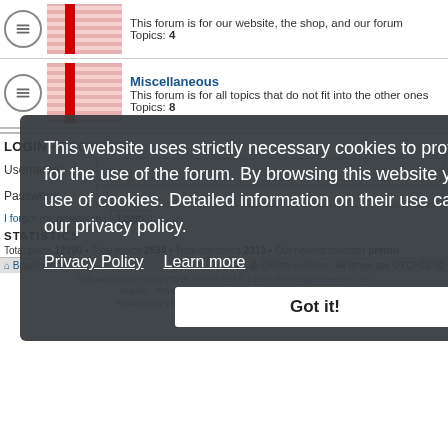[Figure (screenshot): Forum row with icon, thumbnail image of papers, forum title (link), description text, topics count]
This forum is for our website, the shop, and our forum
Topics: 4
[Figure (screenshot): Forum row - Miscellaneous with icon and thumbnail]
Miscellaneous
This forum is for all topics that do not fit into the other ones
Topics: 8
LOGIN • REGISTER
Username:
Password:
I forgot my password | Login
STATISTICS
Total posts 12190 • Total topics 2534 • Total members 2313 • Our newest member premu
Board index  •  Delete cookies  All times are UTC+02:00
This website uses strictly necessary cookies to provide functionality for the use of the forum. By browsing this website you agree to the use of cookies. Detailed information on their use can be found in our privacy policy.
Privacy Policy    Learn more
Got it!